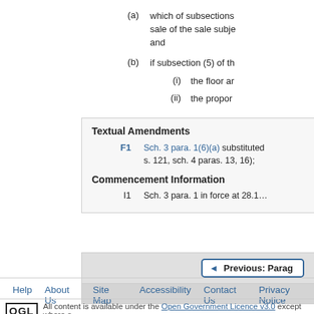(a) which of subsections … sale of the sale subje… and
(b) if subsection (5) of th…
(i) the floor ar…
(ii) the propor…
Textual Amendments
F1 Sch. 3 para. 1(6)(a) substituted … s. 121, sch. 4 paras. 13, 16);
Commencement Information
I1 Sch. 3 para. 1 in force at 28.1…
◄ Previous: Parag…
Help   About Us   Site Map   Accessibility   Contact Us   Privacy Notice
OGL All content is available under the Open Government Licence v3.0 except where o…